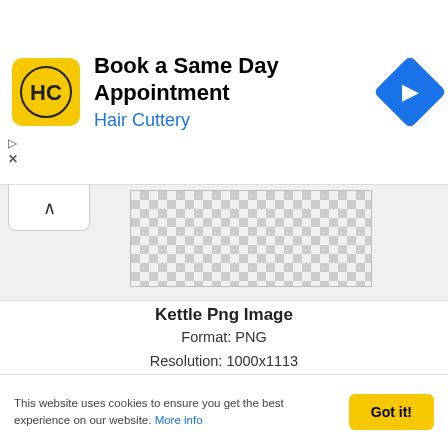[Figure (screenshot): Advertisement banner for Hair Cuttery: 'Book a Same Day Appointment' with HC logo and navigation arrow icon]
[Figure (screenshot): Checkerboard transparent background preview image of Kettle PNG]
Kettle Png Image
Format: PNG
Resolution: 1000x1113
Size: 253.0KB
Downloads: 433
1  2  3  Next »
This website uses cookies to ensure you get the best experience on our website. More info